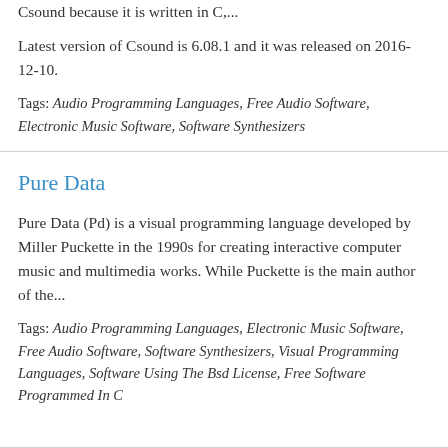Csound because it is written in C,...
Latest version of Csound is 6.08.1 and it was released on 2016-12-10.
Tags: Audio Programming Languages, Free Audio Software, Electronic Music Software, Software Synthesizers
Pure Data
Pure Data (Pd) is a visual programming language developed by Miller Puckette in the 1990s for creating interactive computer music and multimedia works. While Puckette is the main author of the...
Tags: Audio Programming Languages, Electronic Music Software, Free Audio Software, Software Synthesizers, Visual Programming Languages, Software Using The Bsd License, Free Software Programmed In C